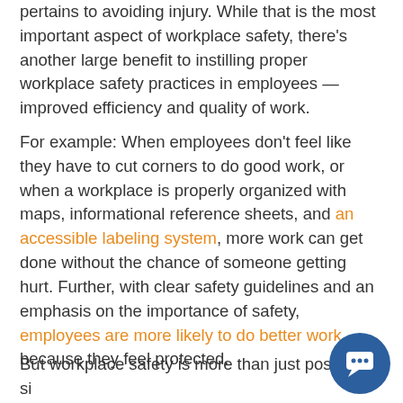pertains to avoiding injury. While that is the most important aspect of workplace safety, there's another large benefit to instilling proper workplace safety practices in employees — improved efficiency and quality of work.
For example: When employees don't feel like they have to cut corners to do good work, or when a workplace is properly organized with maps, informational reference sheets, and an accessible labeling system, more work can get done without the chance of someone getting hurt. Further, with clear safety guidelines and an emphasis on the importance of safety, employees are more likely to do better work because they feel protected.
But workplace safety is more than just posting signs and holding training meetings — it's on the ground